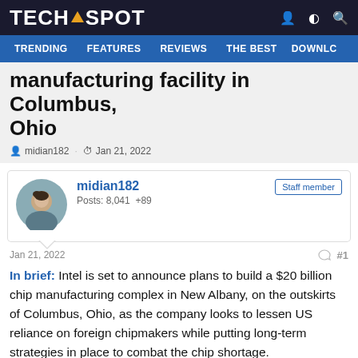TECHSPOT
manufacturing facility in Columbus, Ohio
midian182 · Jan 21, 2022
midian182
Posts: 8,041  +89
Staff member
Jan 21, 2022  #1
In brief: Intel is set to announce plans to build a $20 billion chip manufacturing complex in New Albany, on the outskirts of Columbus, Ohio, as the company looks to lessen US reliance on foreign chipmakers while putting long-term strategies in place to combat the chip shortage.